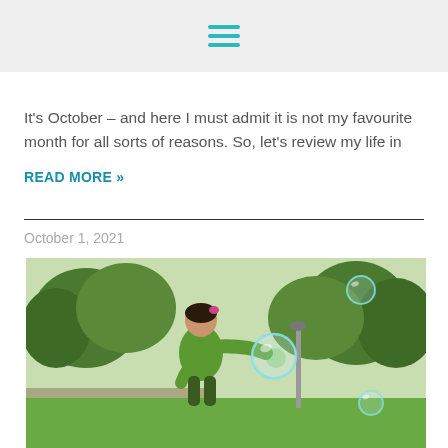Navigation menu icon
It's October – and here I must admit it is not my favourite month for all sorts of reasons. So, let's review my life in
READ MORE »
October 1, 2021
[Figure (photo): A young girl in a green jacket reaching out to catch a soap bubble in a park with green trees in the background]